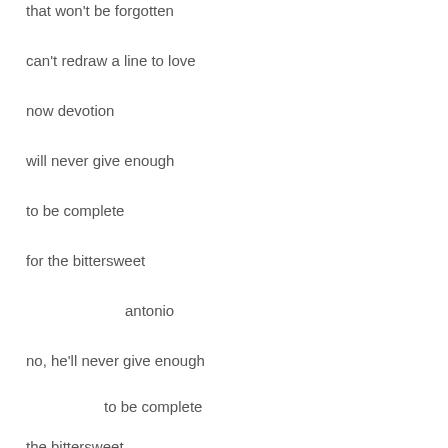that won't be forgotten
can't redraw a line to love
now devotion
will never give enough
to be complete
for the bittersweet
antonio
no, he'll never give enough
to be complete
the bittersweet